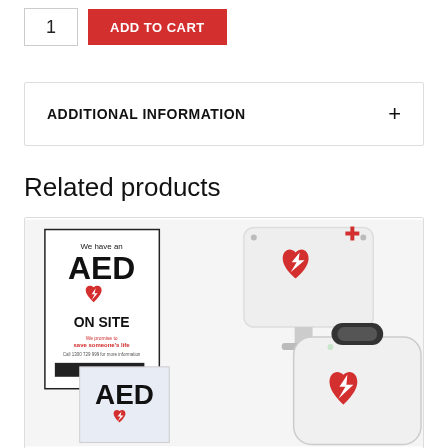1
ADD TO CART
ADDITIONAL INFORMATION
Related products
[Figure (photo): Related products showing AED signage products and AED defibrillator device. Left side shows a poster reading 'We have an AED ON SITE' with heart/lightning bolt logo, and a booklet/sign reading 'AED' with red heart. Right side shows a wall-mount AED sign/bracket with red cross and heart symbol, and a white portable AED defibrillator device with red heart and lightning bolt logo.]